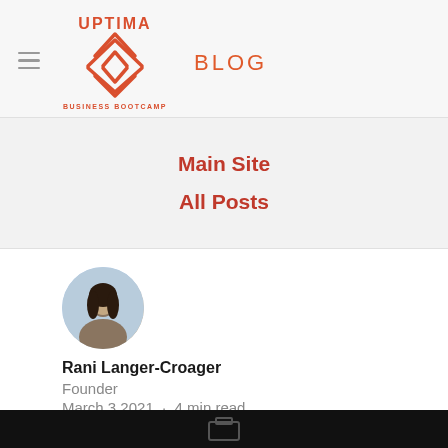[Figure (logo): Uptima Business Bootcamp logo with upward arrows, in red/orange color]
BLOG
Main Site
All Posts
[Figure (photo): Circular profile photo of Rani Langer-Croager]
Rani Langer-Croager
Founder
March 3 2021  ·  4 min read
[Figure (photo): Dark bottom strip showing partial image]